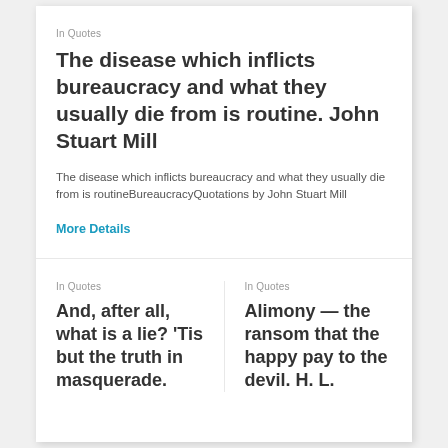In Quotes
The disease which inflicts bureaucracy and what they usually die from is routine. John Stuart Mill
The disease which inflicts bureaucracy and what they usually die from is routineBureaucracyQuotations by John Stuart Mill
More Details
In Quotes
And, after all, what is a lie? 'Tis but the truth in masquerade.
In Quotes
Alimony — the ransom that the happy pay to the devil. H. L.